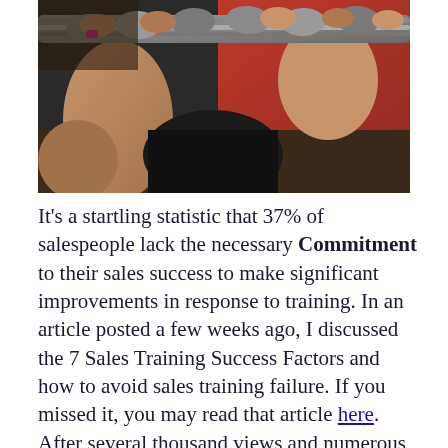[Figure (photo): Close-up photo of people holding a rope during a fitness or team exercise, with a red background visible]
It's a startling statistic that 37% of salespeople lack the necessary Commitment to their sales success to make significant improvements in response to training. In an article posted a few weeks ago, I discussed the 7 Sales Training Success Factors and how to avoid sales training failure. If you missed it, you may read that article here. After several thousand views and numerous responses, both from comments in social media and personal notes, it's clear you want even more detail on